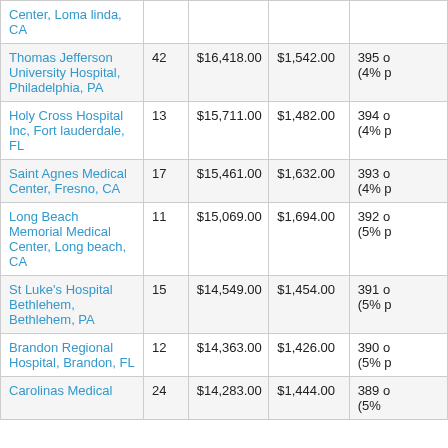| Hospital |  | $ | $ |  |
| --- | --- | --- | --- | --- |
| Center, Loma linda, CA |  |  |  |  |
| Thomas Jefferson University Hospital, Philadelphia, PA | 42 | $16,418.00 | $1,542.00 | 395 o
(4% p |
| Holy Cross Hospital Inc, Fort lauderdale, FL | 13 | $15,711.00 | $1,482.00 | 394 o
(4% p |
| Saint Agnes Medical Center, Fresno, CA | 17 | $15,461.00 | $1,632.00 | 393 o
(4% p |
| Long Beach Memorial Medical Center, Long beach, CA | 11 | $15,069.00 | $1,694.00 | 392 o
(5% p |
| St Luke's Hospital Bethlehem, Bethlehem, PA | 15 | $14,549.00 | $1,454.00 | 391 o
(5% p |
| Brandon Regional Hospital, Brandon, FL | 12 | $14,363.00 | $1,426.00 | 390 o
(5% p |
| Carolinas Medical... | 24 | $14,283.00 | $1,444.00 | 389 o
(5% |